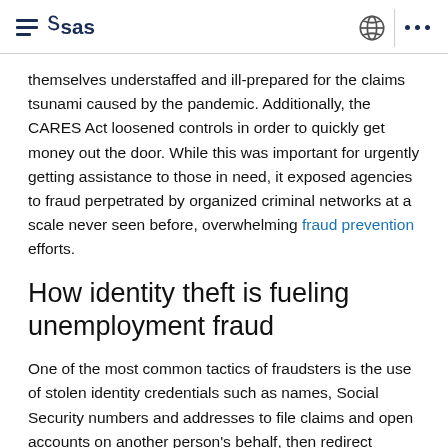SAS
themselves understaffed and ill-prepared for the claims tsunami caused by the pandemic. Additionally, the CARES Act loosened controls in order to quickly get money out the door. While this was important for urgently getting assistance to those in need, it exposed agencies to fraud perpetrated by organized criminal networks at a scale never seen before, overwhelming fraud prevention efforts.
How identity theft is fueling unemployment fraud
One of the most common tactics of fraudsters is the use of stolen identity credentials such as names, Social Security numbers and addresses to file claims and open accounts on another person's behalf, then redirect